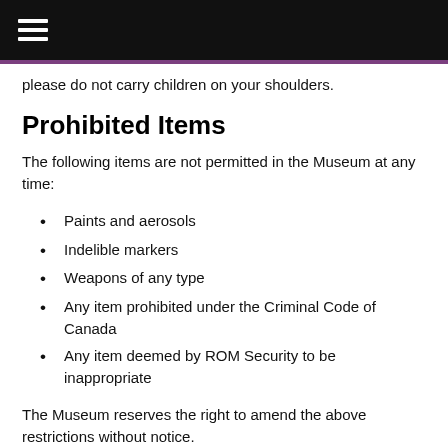≡ (hamburger menu)
please do not carry children on your shoulders.
Prohibited Items
The following items are not permitted in the Museum at any time:
Paints and aerosols
Indelible markers
Weapons of any type
Any item prohibited under the Criminal Code of Canada
Any item deemed by ROM Security to be inappropriate
The Museum reserves the right to amend the above restrictions without notice.